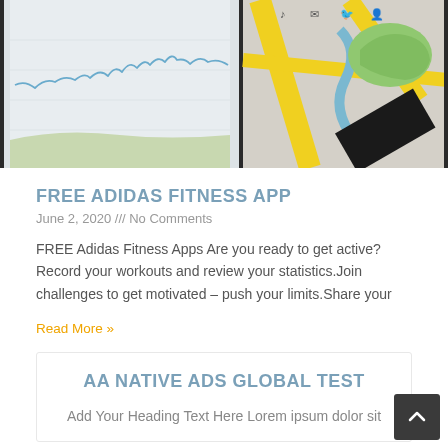[Figure (screenshot): Two smartphones side by side: left phone shows a fitness tracking app with a line chart on a grey background; right phone shows a map navigation app with yellow roads, green park areas, and a black diagonal shape overlay.]
FREE ADIDAS FITNESS APP
June 2, 2020 /// No Comments
FREE Adidas Fitness Apps Are you ready to get active? Record your workouts and review your statistics.Join challenges to get motivated – push your limits.Share your
Read More »
AA NATIVE ADS GLOBAL TEST
Add Your Heading Text Here Lorem ipsum dolor sit